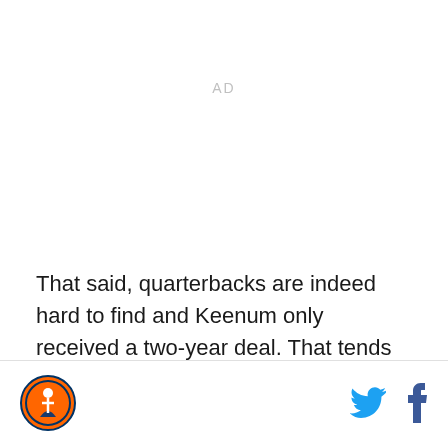AD
That said, quarterbacks are indeed hard to find and Keenum only received a two-year deal. That tends to suggest the Broncos are still going to target a quarterback with their fifth pick. The future of the
[Figure (logo): Sports team logo — circular orange and blue emblem with baseball/sports figure]
[Figure (illustration): Twitter bird icon in cyan blue]
[Figure (illustration): Facebook 'f' icon in dark blue]